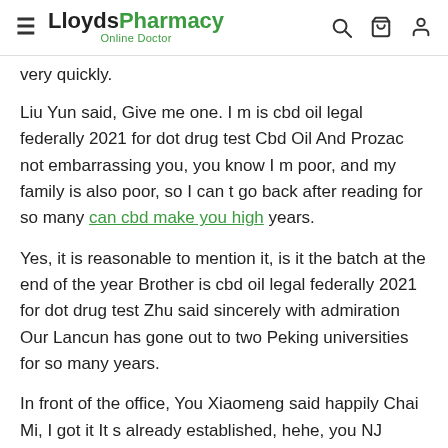LloydsPharmacy Online Doctor
very quickly.
Liu Yun said, Give me one. I m is cbd oil legal federally 2021 for dot drug test Cbd Oil And Prozac not embarrassing you, you know I m poor, and my family is also poor, so I can t go back after reading for so many can cbd make you high years.
Yes, it is reasonable to mention it, is it the batch at the end of the year Brother is cbd oil legal federally 2021 for dot drug test Zhu said sincerely with admiration Our Lancun has gone out to two Peking universities for so many years.
In front of the office, You Xiaomeng said happily Chai Mi, I got it It s already established, hehe, you NJ Fitness